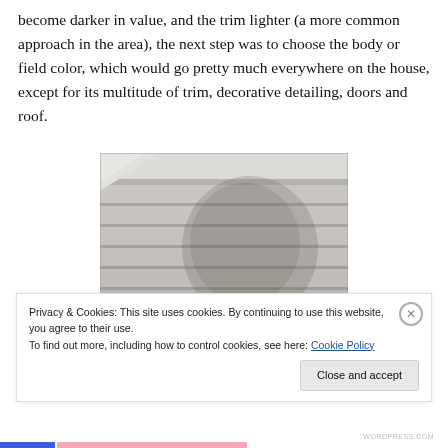become darker in value, and the trim lighter (a more common approach in the area), the next step was to choose the body or field color, which would go pretty much everywhere on the house, except for its multitude of trim, decorative detailing, doors and roof.
[Figure (photo): Close-up photograph of light gray horizontal house siding/clapboards with a shadow visible on the surface, and white trim at the top corner.]
Privacy & Cookies: This site uses cookies. By continuing to use this website, you agree to their use. To find out more, including how to control cookies, see here: Cookie Policy